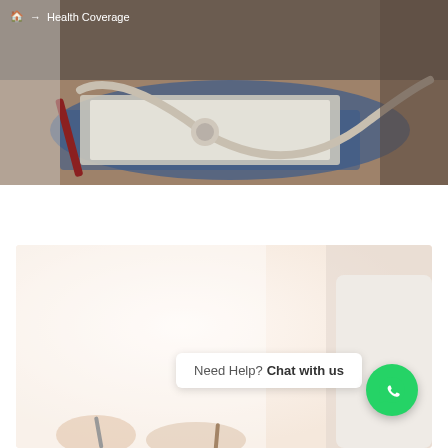Home → Health Coverage
[Figure (photo): Close-up photo of a stethoscope and medical documents on a wooden desk with a pen]
[Figure (photo): Light-toned photo of a doctor or medical professional in white coat, softly blurred background]
Need Help? Chat with us